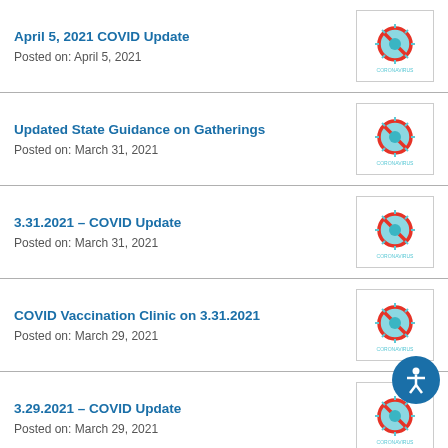April 5, 2021 COVID Update
Posted on: April 5, 2021
Updated State Guidance on Gatherings
Posted on: March 31, 2021
3.31.2021 – COVID Update
Posted on: March 31, 2021
COVID Vaccination Clinic on 3.31.2021
Posted on: March 29, 2021
3.29.2021 – COVID Update
Posted on: March 29, 2021
3.26.2021 COVID Update
Posted on: March 26, 2021